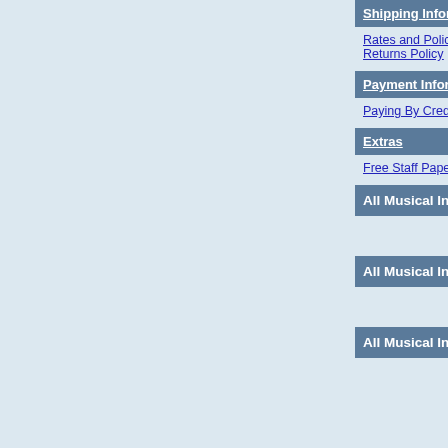Shipping Information
Rates and Policies | Tracking Your Package | Our Returns Policy
Payment Information
Paying By Credit Card | Paying By Check or Money Order | Sales Tax
Extras
Free Staff Paper Downloads | Musical Instrument Links | Refer A Friend
All Musical Instruments, Products, and Accessories By Brand
A | B | C | D | E | F | G | H | I | J | K | L | M | N | O | P | Q | R | S | T | U | V | W | X | Y | Z
All Musical Instruments, Products, and Accessories By Item Number
[0-9] | A | B | C | D | E | F | G | H | I | J | K | L | M | N | O | P | Q | R | S | T | U | V | W | X | Y | Z
All Musical Instruments, Products, and Accessories By Product Category